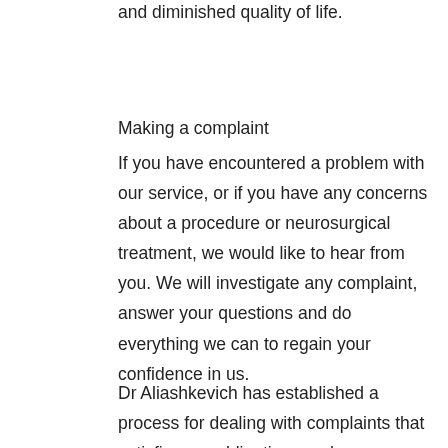and diminished quality of life.
Making a complaint
If you have encountered a problem with our service, or if you have any concerns about a procedure or neurosurgical treatment, we would like to hear from you. We will investigate any complaint, answer your questions and do everything we can to regain your confidence in us.
Dr Aliashkevich has established a process for dealing with complaints that satisfies our obligations under